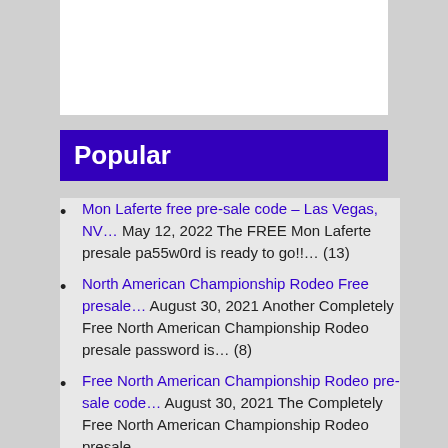Popular
Mon Laferte free pre-sale code – Las Vegas, NV… May 12, 2022 The FREE Mon Laferte presale pa55w0rd is ready to go!!… (13)
North American Championship Rodeo Free presale… August 30, 2021 Another Completely Free North American Championship Rodeo presale password is… (8)
Free North American Championship Rodeo pre-sale code… August 30, 2021 The Completely Free North American Championship Rodeo presale